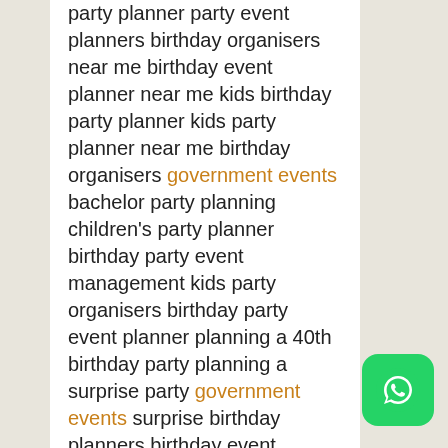party planner party event planners birthday organisers near me birthday event planner near me kids birthday party planner kids party planner near me birthday organisers government events bachelor party planning children's party planner birthday party event management kids party organisers birthday party event planner planning a 40th birthday party planning a surprise party government events surprise birthday planners birthday event organisers the party planner party organizers near me surprise party planners party planning packages prices event coordinator near me government events starting a party planning business event party planner party planning services party planning company birthday event management near me graduation party planner planning a 50th birthday party luxury party planners sweet 16 planner party stylist
[Figure (logo): WhatsApp logo button — green rounded square with white phone handset icon]